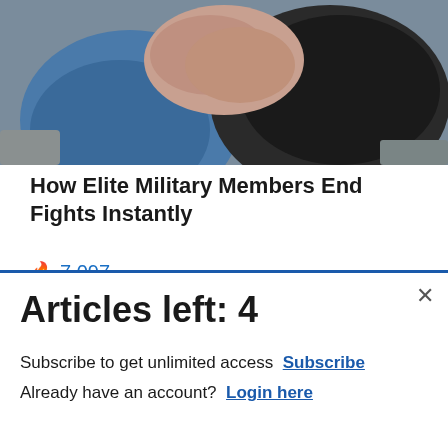[Figure (photo): Two people grappling/fighting, close-up of arms and torsos in outdoor setting]
How Elite Military Members End Fights Instantly
🔥 7,097
[Figure (photo): Close-up of a foot/toes, pinkish skin]
[Figure (other): Commissary Click2Go advertisement banner with green logo and Commissary badge, text: order groceries | PICKUP]
Articles left: 4
Subscribe to get unlimited access  Subscribe
Already have an account?  Login here